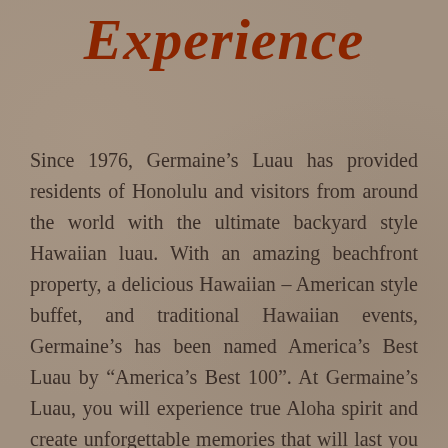Experience
Since 1976, Germaine’s Luau has provided residents of Honolulu and visitors from around the world with the ultimate backyard style Hawaiian luau. With an amazing beachfront property, a delicious Hawaiian – American style buffet, and traditional Hawaiian events, Germaine’s has been named America’s Best Luau by “America’s Best 100”. At Germaine’s Luau, you will experience true Aloha spirit and create unforgettable memories that will last you a lifetime.